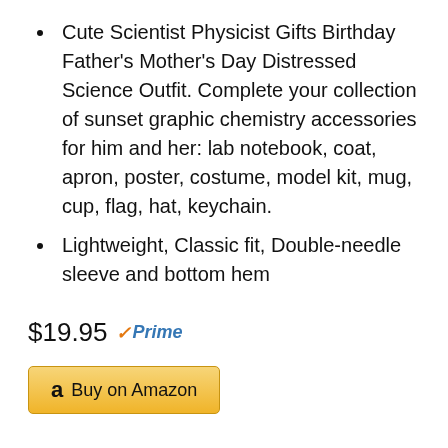Cute Scientist Physicist Gifts Birthday Father's Mother's Day Distressed Science Outfit. Complete your collection of sunset graphic chemistry accessories for him and her: lab notebook, coat, apron, poster, costume, model kit, mug, cup, flag, hat, keychain.
Lightweight, Classic fit, Double-needle sleeve and bottom hem
$19.95 Prime
Buy on Amazon